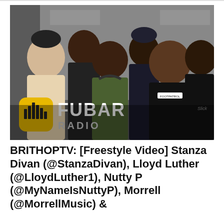[Figure (photo): Group photo of six men standing together in what appears to be a radio studio. A FUBAR Radio logo with yellow icon showing speaker/equalizer bars is visible in the bottom-left of the image along with the text 'FUBAR RADIO'. The men are smiling and posing for the camera. One man wears a cap, another wears a blue/yellow jacket with headphones around his neck, one wears a black hoodie, one wears a black sweatshirt with 'FOOTPATROL' text, and another wears a black shirt with 'Slick' visible.]
BRITHOPTV: [Freestyle Video] Stanza Divan (@StanzaDivan), Lloyd Luther (@LloydLuther1), Nutty P (@MyNameIsNuttyP), Morrell (@MorrellMusic) &